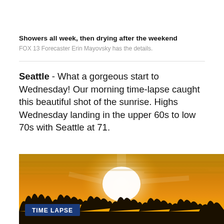Showers all week, then drying after the weekend
FOX 13 Forecaster Erin Mayovsky has the details.
Seattle - What a gorgeous start to Wednesday! Our morning time-lapse caught this beautiful shot of the sunrise. Highs Wednesday landing in the upper 60s to low 70s with Seattle at 71.
[Figure (photo): A time-lapse video thumbnail showing a golden sunrise with a bright white sun rising above a dark silhouetted tree line, with orange and golden hues across the sky. A blue label overlay in the upper left reads 'TIME LAPSE' in white bold text.]